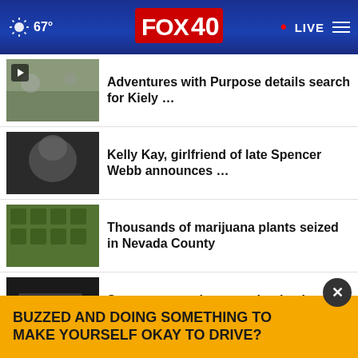67° FOX 40 • LIVE
Adventures with Purpose details search for Kiely …
Kelly Kay, girlfriend of late Spencer Webb announces …
Thousands of marijuana plants seized in Nevada County
Sacramento to host gun buyback event in October
DA: Man convicted for death of killing woman in 2020
I-5,
BUZZED AND DOING SOMETHING TO MAKE YOURSELF OKAY TO DRIVE?